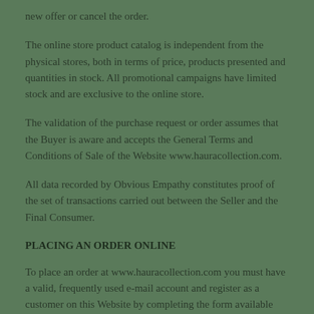new offer or cancel the order.
The online store product catalog is independent from the physical stores, both in terms of price, products presented and quantities in stock. All promotional campaigns have limited stock and are exclusive to the online store.
The validation of the purchase request or order assumes that the Buyer is aware and accepts the General Terms and Conditions of Sale of the Website www.hauracollection.com.
All data recorded by Obvious Empathy constitutes proof of the set of transactions carried out between the Seller and the Final Consumer.
PLACING AN ORDER ONLINE
To place an order at www.hauracollection.com you must have a valid, frequently used e-mail account and register as a customer on this Website by completing the form available online or log